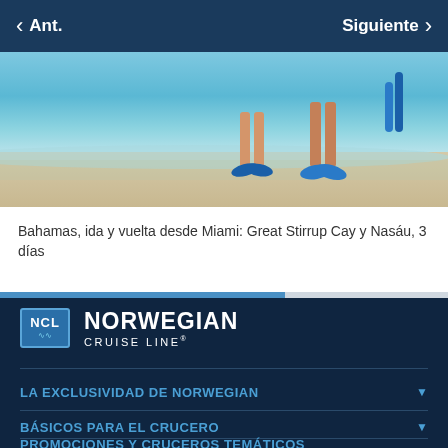< Ant.    Siguiente >
[Figure (photo): Two people walking on a tropical beach with snorkeling fins, clear turquoise water in the background]
Bahamas, ida y vuelta desde Miami: Great Stirrup Cay y Nasáu, 3 días
[Figure (logo): Norwegian Cruise Line (NCL) logo with blue box and wave graphic]
LA EXCLUSIVIDAD DE NORWEGIAN
BÁSICOS PARA EL CRUCERO
PROMOCIONES Y CRUCEROS TEMÁTICOS